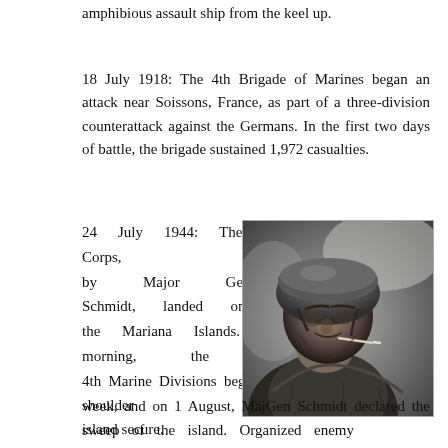amphibious assault ship from the keel up.
18 July 1918: The 4th Brigade of Marines began an attack near Soissons, France, as part of a three-division counterattack against the Germans. In the first two days of battle, the brigade sustained 1,972 casualties.
24 July 1944: The V Amphibious Corps, commanded by Major General Harry Schmidt, landed on Tinian, in the Mariana Islands. The following morning, the 2d and 4th Marine Divisions began a shoulder-to-shoulder southward sweep of the island. Organized enemy resistance faded within a week, and on 1 August, MajGen Schmidt declared the island secure.
[Figure (illustration): Black and white pencil or charcoal illustration of a Marine soldier in combat gear and helmet, looking downward, holding a cigarette.]